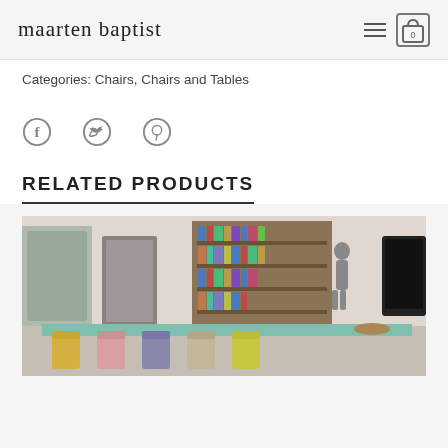maarten baptist
Categories: Chairs, Chairs and Tables
[Figure (illustration): Social share icons: Facebook, Twitter, Pinterest]
RELATED PRODUCTS
[Figure (photo): Interior room photo showing a dining table with colorful chairs, bookshelves, and a TV in the background]